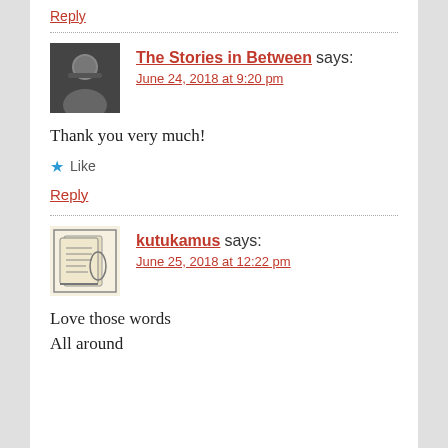Reply
The Stories in Between says:
June 24, 2018 at 9:20 pm
Thank you very much!
Like
Reply
kutukamus says:
June 25, 2018 at 12:22 pm
Love those words All around